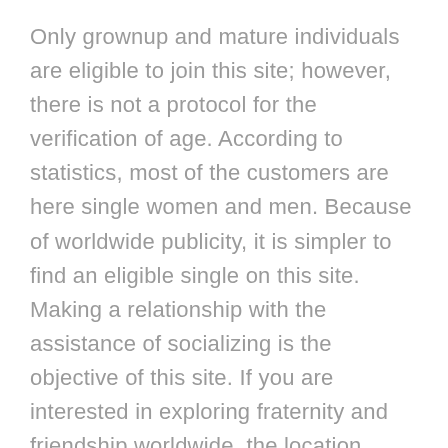Only grownup and mature individuals are eligible to join this site; however, there is not a protocol for the verification of age. According to statistics, most of the customers are here single women and men. Because of worldwide publicity, it is simpler to find an eligible single on this site. Making a relationship with the assistance of socializing is the objective of this site. If you are interested in exploring fraternity and friendship worldwide, the location Chatib will work perfectly for you.
Chatib Review Of The App And Consumer
Each of these apps requires that each parties